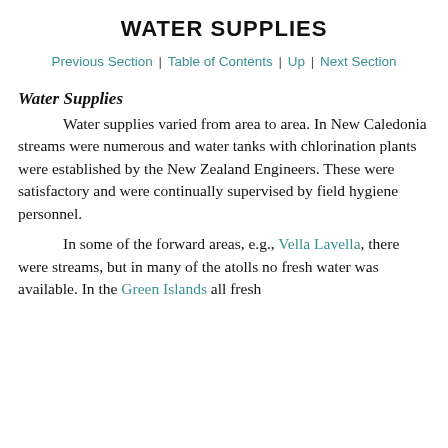WATER SUPPLIES
Previous Section | Table of Contents | Up | Next Section
Water Supplies
Water supplies varied from area to area. In New Caledonia streams were numerous and water tanks with chlorination plants were established by the New Zealand Engineers. These were satisfactory and were continually supervised by field hygiene personnel.
In some of the forward areas, e.g., Vella Lavella, there were streams, but in many of the atolls no fresh water was available. In the Green Islands all fresh